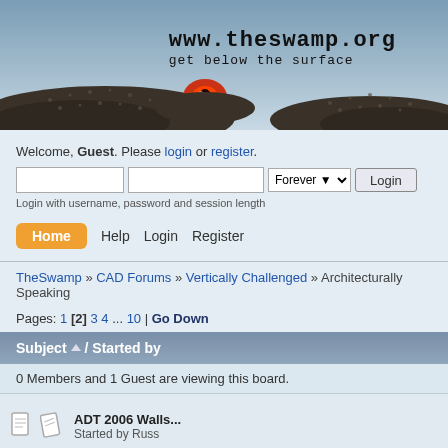[Figure (illustration): TheSwamp.org website header with alligator/swamp creature logo, showing a pixelated alligator eye peeking out of a mound, with site title 'www.theswamp.org' and tagline 'get below the surface']
Welcome, Guest. Please login or register.
Login with username, password and session length
Home  Help  Login  Register
TheSwamp » CAD Forums » Vertically Challenged » Architecturally Speaking
Pages: 1 [2] 3 4 ... 10 |  Go Down
| Subject / Started by |
| --- |
| 0 Members and 1 Guest are viewing this board. |
| ADT 2006 Walls...
Started by Russ |
| ADT 2006...
Started by Russ |